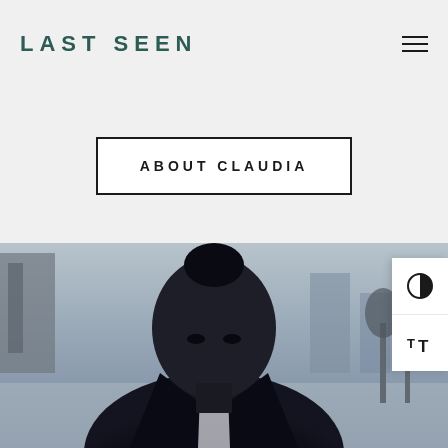LAST SEEN
ABOUT CLAUDIA
[Figure (photo): Black and white portrait photograph of a young woman with hair pulled back in a bun, wearing a dark coat over a white blouse, looking directly at the camera, urban background with buildings]